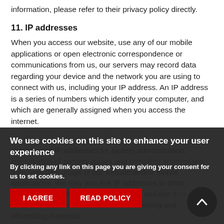information, please refer to their privacy policy directly.
11. IP addresses
When you access our website, use any of our mobile applications or open electronic correspondence or communications from us, our servers may record data regarding your device and the network you are using to connect with us, including your IP address. An IP address is a series of numbers which identify your computer, and which are generally assigned when you access the internet.
We may use IP addresses for system administration, investigation of security issues and compiling anonymised data regarding usage of our website and/or mobile applications. We may also link IP addresses to other personal information we hold about you and use it as described above to better tailor our marketing and advertising materials,
We use cookies on this site to enhance your user experience
By clicking any link on this page you are giving your consent for us to set cookies.